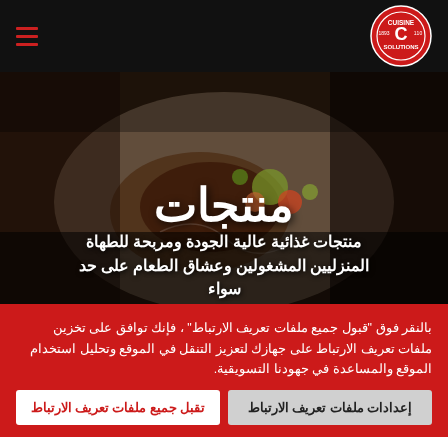Cuisine Solutions — navigation header with logo
[Figure (photo): Food photo background showing a gourmet plated dish with vegetables and sauce, dark moody lighting]
منتجات
منتجات غذائية عالية الجودة ومربحة للطهاة المنزليين المشغولين وعشاق الطعام على حد سواء
بالنقر فوق "قبول جميع ملفات تعريف الارتباط" ، فإنك توافق على تخزين ملفات تعريف الارتباط على جهازك لتعزيز التنقل في الموقع وتحليل استخدام الموقع والمساعدة في جهودنا التسويقية.
إعدادات ملفات تعريف الارتباط
تقبل جميع ملفات تعريف الارتباط